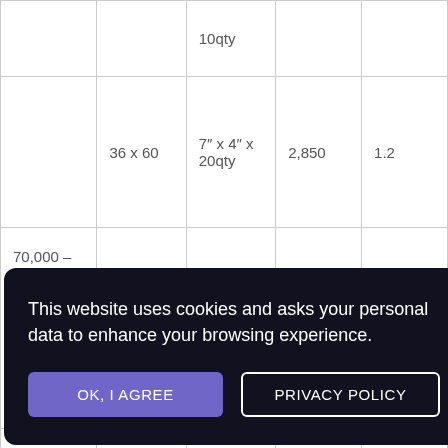|  |  | 10qty |  |  |
|  | 36 x 60 | 7" x 4" x 20qty | 2,850 | 1.2 |
| 70,000 – 100,000 + |  |  |  |  |
|  |  |  |  |  |
This website uses cookies and asks your personal data to enhance your browsing experience.
OK, I AGREE
PRIVACY POLICY